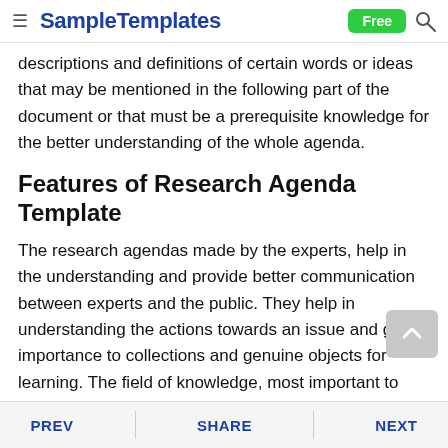SampleTemplates — Free
descriptions and definitions of certain words or ideas that may be mentioned in the following part of the document or that must be a prerequisite knowledge for the better understanding of the whole agenda.
Features of Research Agenda Template
The research agendas made by the experts, help in the understanding and provide better communication between experts and the public. They help in understanding the actions towards an issue and give importance to collections and genuine objects for learning. The field of knowledge, most important to certain topics which include scientific process, require expertise when it comes to examination, collation
PREV   SHARE   NEXT